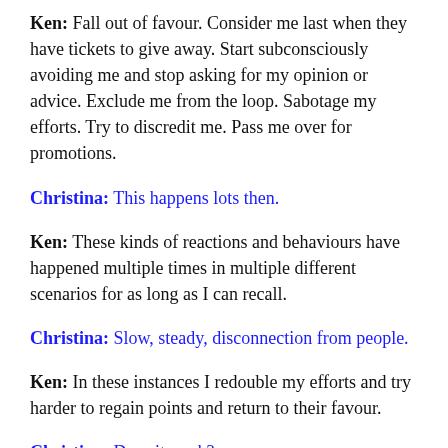Ken: Fall out of favour. Consider me last when they have tickets to give away. Start subconsciously avoiding me and stop asking for my opinion or advice. Exclude me from the loop. Sabotage my efforts. Try to discredit me. Pass me over for promotions.
Christina: This happens lots then.
Ken: These kinds of reactions and behaviours have happened multiple times in multiple different scenarios for as long as I can recall.
Christina: Slow, steady, disconnection from people.
Ken: In these instances I redouble my efforts and try harder to regain points and return to their favour.
Christina: Does it work?